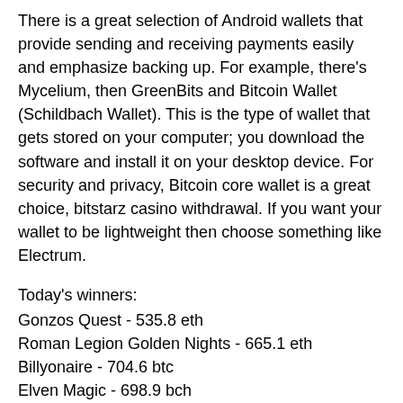There is a great selection of Android wallets that provide sending and receiving payments easily and emphasize backing up. For example, there's Mycelium, then GreenBits and Bitcoin Wallet (Schildbach Wallet). This is the type of wallet that gets stored on your computer; you download the software and install it on your desktop device. For security and privacy, Bitcoin core wallet is a great choice, bitstarz casino withdrawal. If you want your wallet to be lightweight then choose something like Electrum.
Today's winners:
Gonzos Quest - 535.8 eth
Roman Legion Golden Nights - 665.1 eth
Billyonaire - 704.6 btc
Elven Magic - 698.9 bch
Cosmopolitan - 713.5 usdt
Treasure Kingdom - 599.6 btc
Chests of Plenty - 629.7 ltc
Santa's Kiss - 100.2 dog